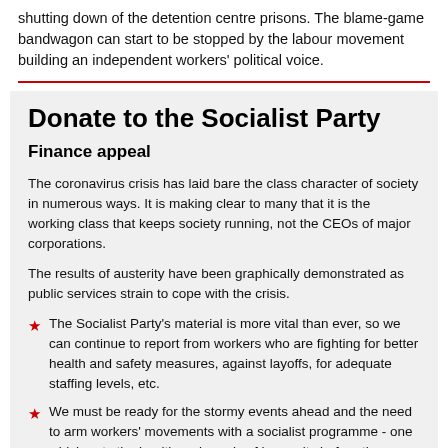shutting down of the detention centre prisons. The blame-game bandwagon can start to be stopped by the labour movement building an independent workers' political voice.
Donate to the Socialist Party
Finance appeal
The coronavirus crisis has laid bare the class character of society in numerous ways. It is making clear to many that it is the working class that keeps society running, not the CEOs of major corporations.
The results of austerity have been graphically demonstrated as public services strain to cope with the crisis.
The Socialist Party's material is more vital than ever, so we can continue to report from workers who are fighting for better health and safety measures, against layoffs, for adequate staffing levels, etc.
We must be ready for the stormy events ahead and the need to arm workers' movements with a socialist programme - one which puts the health and needs of humanity before the profits of a few.
Inevitably, during the crisis we have not been able to sell